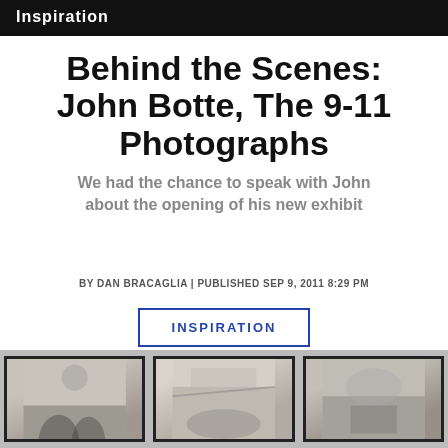Inspiration
Behind the Scenes: John Botte, The 9-11 Photographs
We had the chance to speak with John about the opening of his new exhibit
BY DAN BRACAGLIA | PUBLISHED SEP 9, 2011 8:29 PM
INSPIRATION
[Figure (photo): Three framed photographs displayed on a wall, showing black and white images, partially cropped at the bottom of the page]